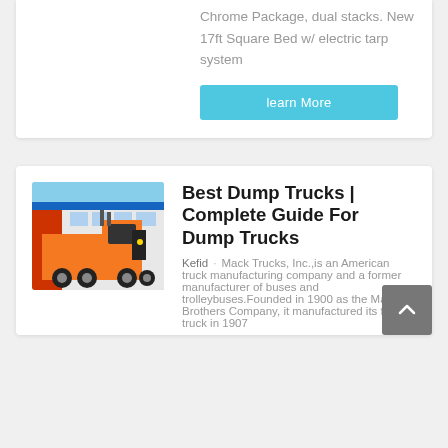Chrome Package, dual stacks. New 17ft Square Bed w/ electric tarp system
learn More
[Figure (photo): Orange heavy-duty dump truck (SINOTRUCK/HOWO style) parked in front of a dealership building with red and blue signage]
Best Dump Trucks | Complete Guide For Dump Trucks
Kefid · Mack Trucks, Inc.,is an American truck manufacturing company and a former manufacturer of buses and trolleybuses.Founded in 1900 as the Mack Brothers Company, it manufactured its first truck in 1907